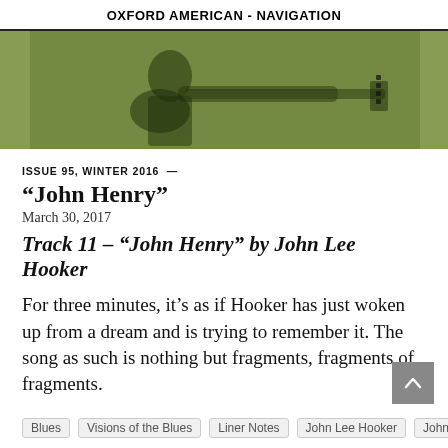OXFORD AMERICAN - NAVIGATION
[Figure (photo): A green-tinted banner image showing a guitarist playing an electric guitar, with a decorative green background.]
ISSUE 95, WINTER 2016 —
“John Henry”
March 30, 2017
Track 11 – “John Henry” by John Lee Hooker
For three minutes, it’s as if Hooker has just woken up from a dream and is trying to remember it. The song as such is nothing but fragments, fragments of fragments.
Blues
Visions of the Blues
Liner Notes
John Lee Hooker
John Henry